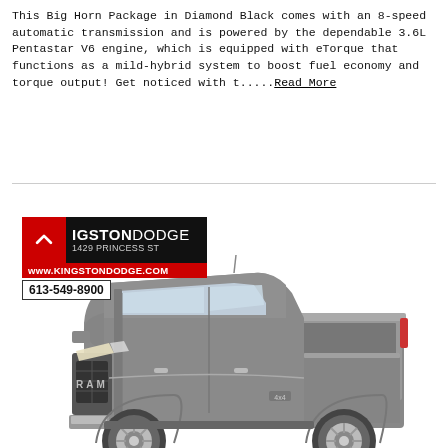This Big Horn Package in Diamond Black comes with an 8-speed automatic transmission and is powered by the dependable 3.6L Pentastar V6 engine, which is equipped with eTorque that functions as a mild-hybrid system to boost fuel economy and torque output! Get noticed with t.....Read More
[Figure (photo): Kingston Dodge dealership logo overlay on a gray RAM 1500 Big Horn truck, 3/4 front view on white background. Logo shows red chevron, black background with KINGSTON DODGE text, 1429 PRINCESS ST address, www.kingstondodge.com website, and 613-549-8900 phone number.]